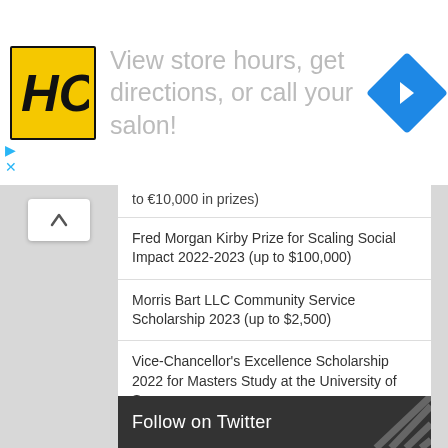[Figure (advertisement): HC salon logo advertisement with text 'View store hours, get directions, or call your salon!' and a blue navigation arrow icon]
to €10,000 in prizes)
Fred Morgan Kirby Prize for Scaling Social Impact 2022-2023 (up to $100,000)
Morris Bart LLC Community Service Scholarship 2023 (up to $2,500)
Vice-Chancellor's Excellence Scholarship 2022 for Masters Study at the University of Surrey
AfricaLics PhD Visiting Fellowship Programme (VFP) 2023
AfDB Virtual Internship Programme 2022 – Session II
Follow on Twitter